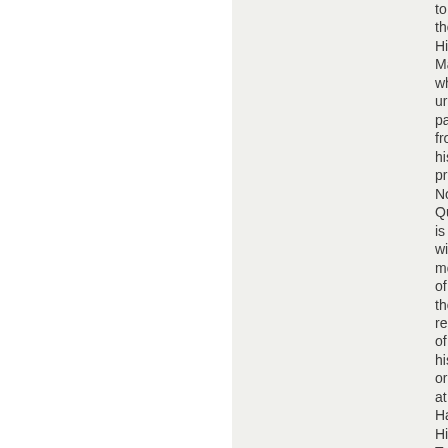to the Hig Ma wh urg pat fro his pro No Qu is wit mo of the res of his ord at Ha Hill T